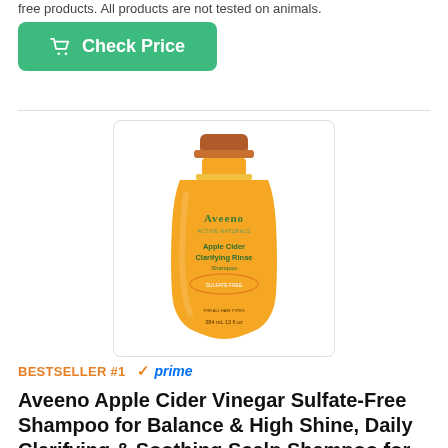free products. All products are not tested on animals.
[Figure (other): Green 'Check Price' button with shopping cart icon]
[Figure (photo): Aveeno Apple Cider Vinegar Sulfate-Free Shampoo bottle, orange/amber color with copper cap]
BESTSELLER #1  ✓prime
Aveeno Apple Cider Vinegar Sulfate-Free Shampoo for Balance & High Shine, Daily Clarifying & Soothing Scalp Shampoo for Oily or Dull Hair, Paraben & Dye-Free, 12 Fl